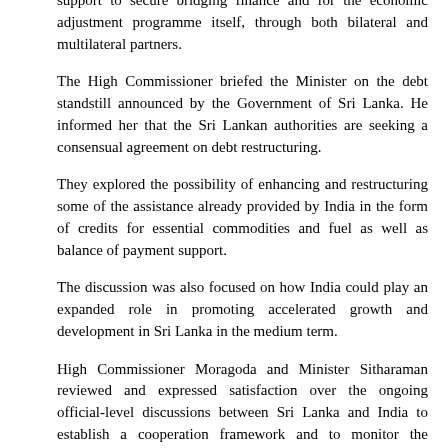support to secure bridging finance and for the economic adjustment programme itself, through both bilateral and multilateral partners.
The High Commissioner briefed the Minister on the debt standstill announced by the Government of Sri Lanka. He informed her that the Sri Lankan authorities are seeking a consensual agreement on debt restructuring.
They explored the possibility of enhancing and restructuring some of the assistance already provided by India in the form of credits for essential commodities and fuel as well as balance of payment support.
The discussion was also focused on how India could play an expanded role in promoting accelerated growth and development in Sri Lanka in the medium term.
High Commissioner Moragoda and Minister Sitharaman reviewed and expressed satisfaction over the ongoing official-level discussions between Sri Lanka and India to establish a cooperation framework and to monitor the progress of economic cooperation between the two countries in the present context. The Presidential Advisory Group on Multilateral Engagement and Debt Sustainability, Governor of the Central Bank and the Secretary to the Treasury are engaged in these discussions representing Sri Lanka while India is represented by the Chief Economic Advisor of the Government and the Secretary (Economic Affairs) of the Ministry of Finance. The High Commissions of the two countries in each other's capitals are also participating in these discussions.
During the meeting, the Finance Minister of India expressed her concern over the humanitarian cost of the economic crisis and said that India would stand by Sri Lanka to overcome its challenges. In response, High